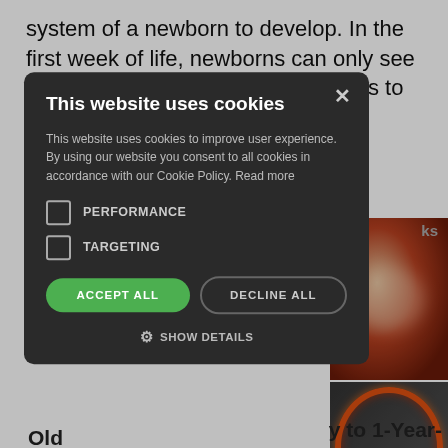system of a newborn to develop. In the first week of life, newborns can only see in shades of gray. It will take months to fully develop the vision of an infant.
[Figure (screenshot): Cookie consent modal overlay on a webpage. The dark modal reads 'This website uses cookies' with body text, two unchecked checkboxes for PERFORMANCE and TARGETING, an ACCEPT ALL green button, a DECLINE ALL outlined button, and a SHOW DETAILS option with gear icon. A close X is at top right. Behind the modal are partial images of scientific/biological spherical structures.]